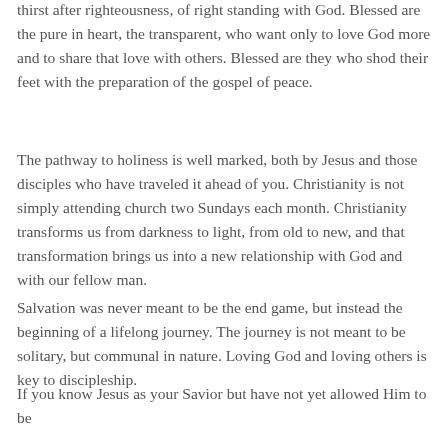thirst after righteousness, of right standing with God. Blessed are the pure in heart, the transparent, who want only to love God more and to share that love with others. Blessed are they who shod their feet with the preparation of the gospel of peace.
The pathway to holiness is well marked, both by Jesus and those disciples who have traveled it ahead of you. Christianity is not simply attending church two Sundays each month. Christianity transforms us from darkness to light, from old to new, and that transformation brings us into a new relationship with God and with our fellow man.
Salvation was never meant to be the end game, but instead the beginning of a lifelong journey. The journey is not meant to be solitary, but communal in nature. Loving God and loving others is key to discipleship.
If you know Jesus as your Savior but have not yet allowed Him to be your Lord, I pray that you will begin to seek after Him with your whole heart. Find a Bible based church and make reading the Scripture and prayer a part of your every day activity.
When you begin to know Jesus, you will begin to act like Jesus. The